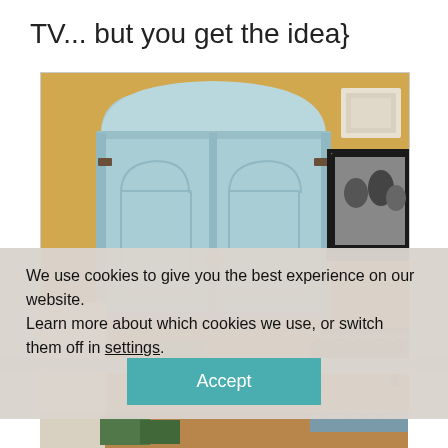TV... but you get the idea}
[Figure (photo): A light blue painted armoire/wardrobe with arched top panels and decorative hardware, set against a warm yellow wall. To the right is a framed black and white family photo and a laptop. The bottom shows part of a bench or table.]
We use cookies to give you the best experience on our website.
Learn more about which cookies we use, or switch them off in settings.
Accept